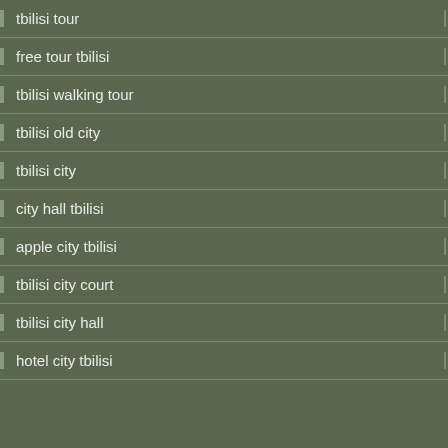tbilisi tour
free tour tbilisi
tbilisi walking tour
tbilisi old city
tbilisi city
city hall tbilisi
apple city tbilisi
tbilisi city court
tbilisi city hall
hotel city tbilisi